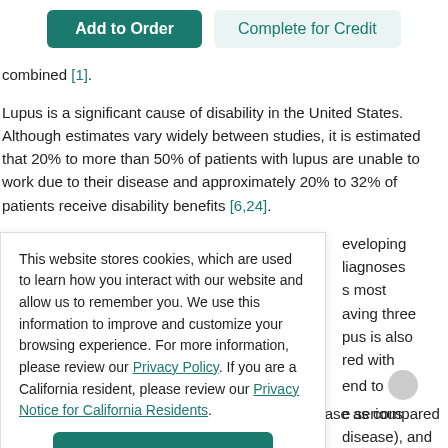Add to Order   Complete for Credit
combined [1].
Lupus is a significant cause of disability in the United States. Although estimates vary widely between studies, it is estimated that 20% to more than 50% of patients with lupus are unable to work due to their disease and approximately 20% to 32% of patients receive disability benefits [6,24].
This website stores cookies, which are used to learn how you interact with our website and allow us to remember you. We use this information to improve and customize your browsing experience. For more information, please review our Privacy Policy. If you are a California resident, please review our Privacy Notice for California Residents.
Accept
eveloping
liagnoses
s most
aving three
pus is also
red with
end to
e serious
disease), and
tend to have a higher mortality rate from the disease as compared to white